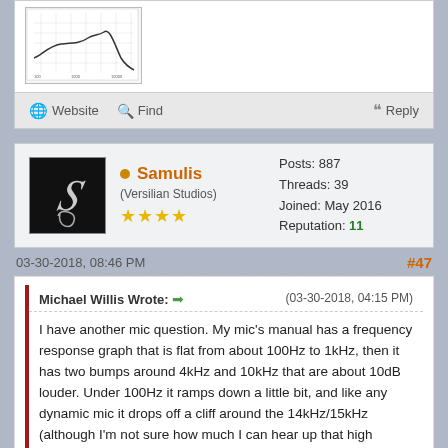[Figure (continuous-plot): Frequency response graph chart thumbnail, showing a curve that is relatively flat then has bumps and drops off at high frequencies]
Website   Find   Reply
Samulis (Versilian Studios)
Posts: 887
Threads: 39
Joined: May 2016
Reputation: 11
03-30-2018, 08:46 PM
#47
Michael Willis Wrote: → (03-30-2018, 04:15 PM)
I have another mic question. My mic's manual has a frequency response graph that is flat from about 100Hz to 1kHz, then it has two bumps around 4kHz and 10kHz that are about 10dB louder. Under 100Hz it ramps down a little bit, and like any dynamic mic it drops off a cliff around the 14kHz/15kHz (although I'm not sure how much I can hear up that high anyway). I'm wondering if while recording I should try to EQ the bumps around 4kHz and 10kHz